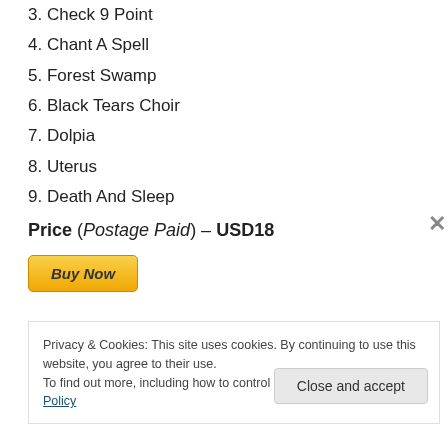3. Check 9 Point
4. Chant A Spell
5. Forest Swamp
6. Black Tears Choir
7. Dolpia
8. Uterus
9. Death And Sleep
Price (Postage Paid) – USD18
[Figure (other): Buy Now button (PayPal-style golden button with italic bold text)]
Privacy & Cookies: This site uses cookies. By continuing to use this website, you agree to their use.
To find out more, including how to control cookies, see here: Cookie Policy